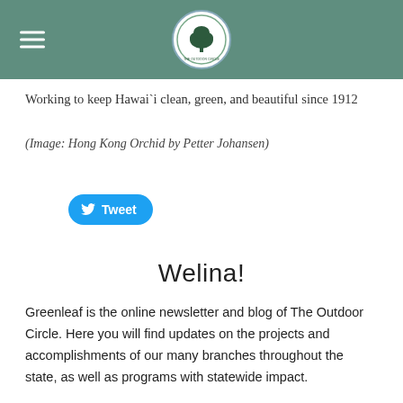[Figure (logo): The Outdoor Circle logo — a circular emblem with a tree silhouette and text around the border, displayed in a green header bar with a hamburger menu icon on the left]
Working to keep Hawai`i clean, green, and beautiful since 1912
(Image: Hong Kong Orchid by Petter Johansen)
[Figure (screenshot): Twitter Tweet button in blue with bird icon]
Welina!
Greenleaf is the online newsletter and blog of The Outdoor Circle. Here you will find updates on the projects and accomplishments of our many branches throughout the state, as well as programs with statewide impact.